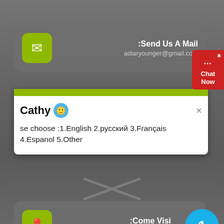[Figure (screenshot): Mobile app UI screenshot showing a contact/support screen with a chat overlay. Top card shows 'Send Us A Mail' with email adiaryounger@gmail.com and envelope icon. A red 'Chat Now' button on the right edge. A white chat popup shows user 'Cathy' with a smiley avatar and message 'se choose :1.English 2.русский 3.Français 4.Espanol 5.Other'. Bottom card shows 'Come Visi' with location icon. Blue notification badge with '1'. Bottom shows X close icon.]